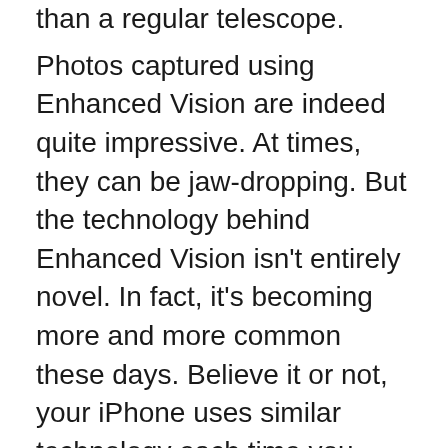than a regular telescope.
Photos captured using Enhanced Vision are indeed quite impressive. At times, they can be jaw-dropping. But the technology behind Enhanced Vision isn't entirely novel. In fact, it's becoming more and more common these days. Believe it or not, your iPhone uses similar technology each time you capture a photo.
With Enhanced Vision enabled, the eVscope eQuinox doesn't just capture one frame when you take a photo. Instead, it captures many images at an interval and stacks them. Here's how it's explained on Unistellar's website: